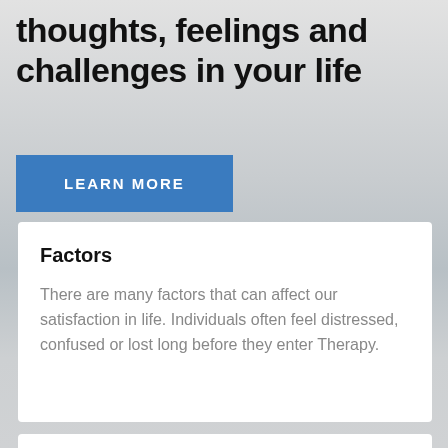thoughts, feelings and challenges in your life
LEARN MORE
Factors
There are many factors that can affect our satisfaction in life. Individuals often feel distressed, confused or lost long before they enter Therapy.
Support
It can be a courageous step to turn to a Therapist for